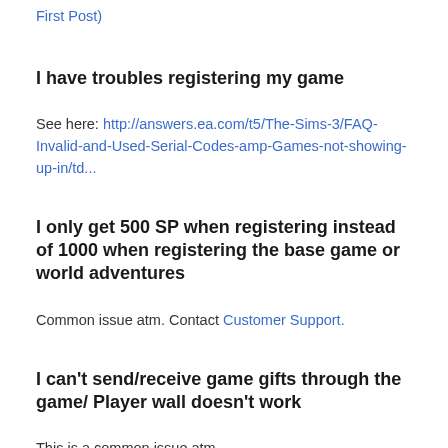First Post)
I have troubles registering my game
See here: http://answers.ea.com/t5/The-Sims-3/FAQ-Invalid-and-Used-Serial-Codes-amp-Games-not-showing-up-in/td...
I only get 500 SP when registering instead of 1000 when registering the base game or world adventures
Common issue atm. Contact Customer Support.
I can't send/receive game gifts through the game/ Player wall doesn't work
This is a common issue atm...